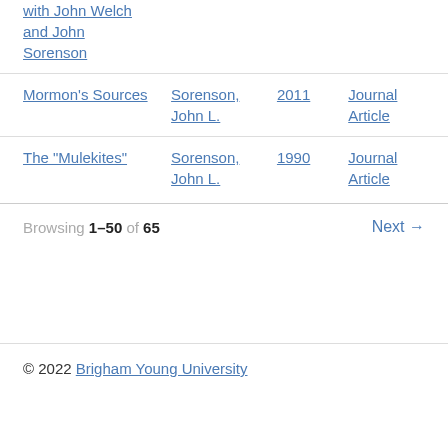with John Welch and John Sorenson
| Title | Author | Year | Type |
| --- | --- | --- | --- |
| Mormon's Sources | Sorenson, John L. | 2011 | Journal Article |
| The "Mulekites" | Sorenson, John L. | 1990 | Journal Article |
Browsing 1–50 of 65   Next →
© 2022 Brigham Young University